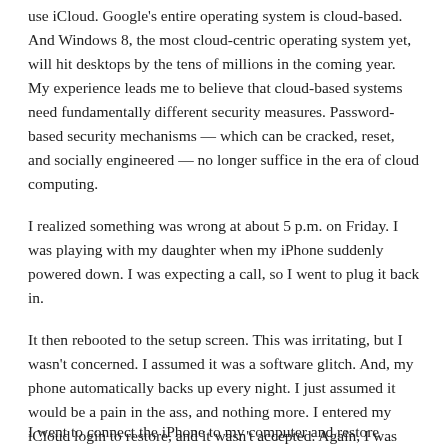use iCloud. Google's entire operating system is cloud-based. And Windows 8, the most cloud-centric operating system yet, will hit desktops by the tens of millions in the coming year. My experience leads me to believe that cloud-based systems need fundamentally different security measures. Password-based security mechanisms — which can be cracked, reset, and socially engineered — no longer suffice in the era of cloud computing.
I realized something was wrong at about 5 p.m. on Friday. I was playing with my daughter when my iPhone suddenly powered down. I was expecting a call, so I went to plug it back in.
It then rebooted to the setup screen. This was irritating, but I wasn't concerned. I assumed it was a software glitch. And, my phone automatically backs up every night. I just assumed it would be a pain in the ass, and nothing more. I entered my iCloud login to restore, and it wasn't accepted. Again, I was irritated, but not alarmed.
I went to connect the iPhone to my computer and restore